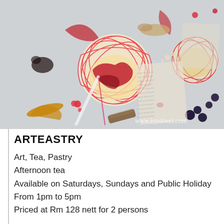[Figure (photo): Overhead artistic food photography showing an elaborately plated dessert with a red spun sugar sphere containing ice cream or sorbet, surrounded by colorful garnishes, sauces, berries, and decorative elements on a marble surface. Watermark reads www.ivyaiwei.com]
ARTEASTRY
Art, Tea, Pastry
Afternoon tea
Available on Saturdays, Sundays and Public Holiday
From 1pm to 5pm
Priced at Rm 128 nett for 2 persons